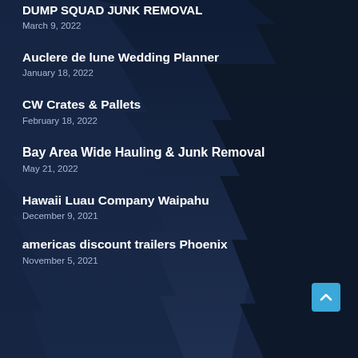DUMP SQUAD JUNK REMOVAL
March 9, 2022
Auclere de lune Wedding Planner
January 18, 2022
CW Crates & Pallets
February 18, 2022
Bay Area Wide Hauling & Junk Removal
May 21, 2022
Hawaii Luau Company Waipahu
December 9, 2021
americas discount trailers Phoenix
November 5, 2021